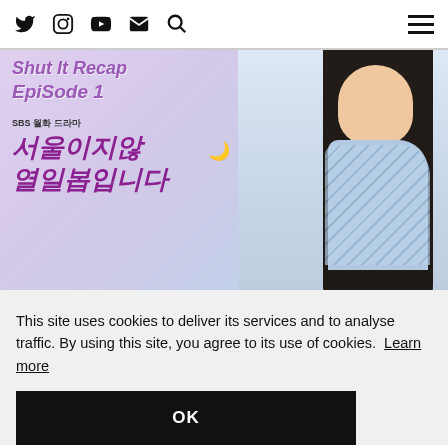Navigation bar with social icons (Twitter, Instagram, YouTube, Email, Search) and hamburger menu
[Figure (photo): Korean drama promotional image for SBS drama 'Seoul is not easy Episode 1' (서울이지않열일봅입니다) showing a woman with long dark hair in a blue patterned top. Overlay text shows 'SHUT IT RECAP Episode 1' in purple handwritten style and Korean title text in pink/purple.]
This site uses cookies to deliver its services and to analyse traffic. By using this site, you agree to its use of cookies. Learn more
OK
atch. I icter is els 17.
I'm looking forward to episode 2!